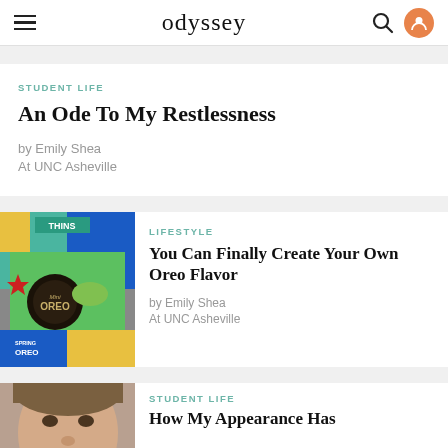odyssey
STUDENT LIFE
An Ode To My Restlessness
by Emily Shea
At UNC Asheville
[Figure (photo): Various Oreo cookie packages including Thins and Spring Oreo flavors]
LIFESTYLE
You Can Finally Create Your Own Oreo Flavor
by Emily Shea
At UNC Asheville
[Figure (photo): Close-up of a child's face]
STUDENT LIFE
How My Appearance Has